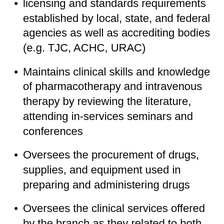licensing and standards requirements established by local, state, and federal agencies as well as accrediting bodies (e.g. TJC, ACHC, URAC)
Maintains clinical skills and knowledge of pharmacotherapy and intravenous therapy by reviewing the literature, attending in-services seminars and conferences
Oversees the procurement of drugs, supplies, and equipment used in preparing and administering drugs
Oversees the clinical services offered by the branch as they related to both infusion and/or specialty services provided